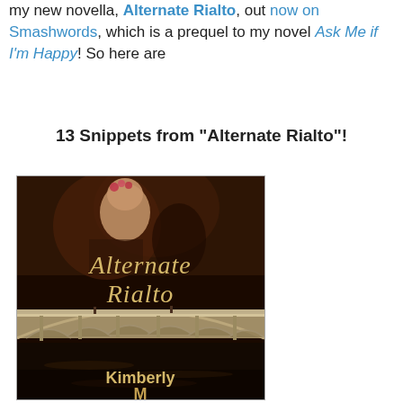my new novella, Alternate Rialto, out now on Smashwords, which is a prequel to my novel Ask Me if I'm Happy! So here are
13 Snippets from "Alternate Rialto"!
[Figure (illustration): Book cover for 'Alternate Rialto' by Kimberly M... showing a Renaissance-style painting of a woman with flowers in her hair in the upper portion, and the Rialto Bridge in Venice at night in the lower portion, with the title 'Alternate Rialto' in decorative gold lettering and the author name 'Kimberly' visible at the bottom]